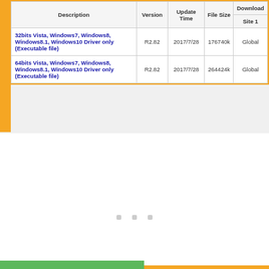| Description | Version | Update Time | File Size | Download Site 1 |
| --- | --- | --- | --- | --- |
| 32bits Vista, Windows7, Windows8, Windows8.1, Windows10 Driver only (Executable file) | R2.82 | 2017/7/28 | 176740k | Global |
| 64bits Vista, Windows7, Windows8, Windows8.1, Windows10 Driver only (Executable file) | R2.82 | 2017/7/28 | 264424k | Global |